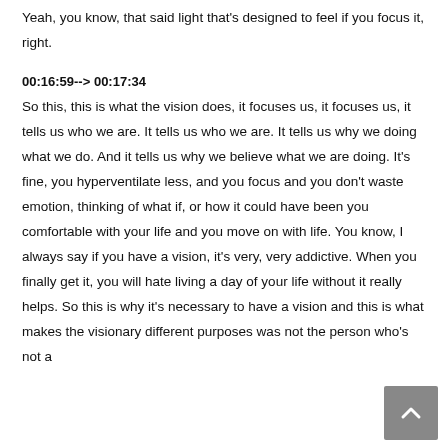Yeah, you know, that said light that's designed to feel if you focus it, right.
00:16:59--> 00:17:34
So this, this is what the vision does, it focuses us, it focuses us, it tells us who we are. It tells us who we are. It tells us why we doing what we do. And it tells us why we believe what we are doing. It's fine, you hyperventilate less, and you focus and you don't waste emotion, thinking of what if, or how it could have been you comfortable with your life and you move on with life. You know, I always say if you have a vision, it's very, very addictive. When you finally get it, you will hate living a day of your life without it really helps. So this is why it's necessary to have a vision and this is what makes the visionary different purposes was not the person who's not a